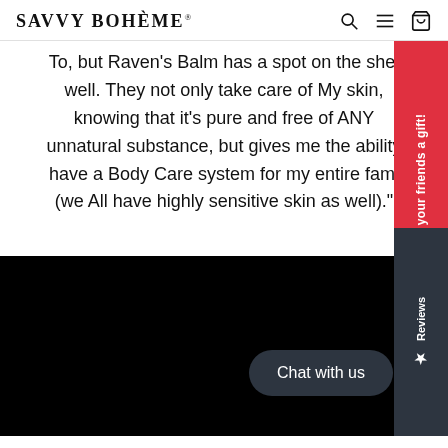SAVVY BOHÈME®
To, but Raven's Balm has a spot on the shelf well. They not only take care of My skin, knowing that it's pure and free of ANY unnatural substance, but gives me the ability have a Body Care system for my entire fami (we All have highly sensitive skin as well)."
[Figure (screenshot): Black background section (partial product/video image)]
Give your friends a gift!
★ Reviews
Chat with us